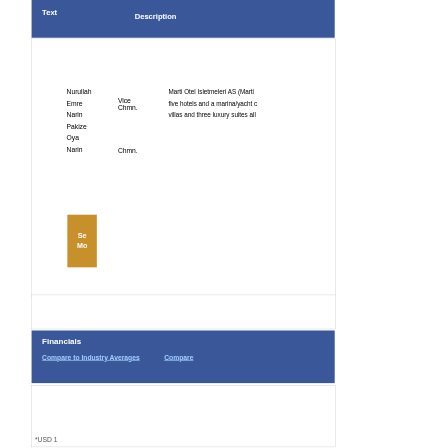Text
Description
| Text |  | Description |
| --- | --- | --- |
| Nurullah Emre Narin | Vice Chmn. | Marti Otel Isletmeleri AS (Marti five hotels and a marina/yacht c villas and three luxury suites all |
| Pakize Oya Narin | Chmn. |  |
See More
Financials
Compare to Industry Averages
Compare